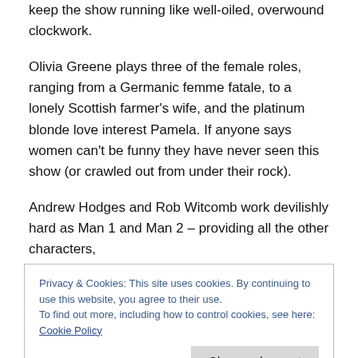keep the show running like well-oiled, overwound clockwork.
Olivia Greene plays three of the female roles, ranging from a Germanic femme fatale, to a lonely Scottish farmer's wife, and the platinum blonde love interest Pamela. If anyone says women can't be funny they have never seen this show (or crawled out from under their rock).
Andrew Hodges and Rob Witcomb work devilishly hard as Man 1 and Man 2 – providing all the other characters,
Privacy & Cookies: This site uses cookies. By continuing to use this website, you agree to their use.
To find out more, including how to control cookies, see here: Cookie Policy
In spades. And so does Greene. And so does the man of